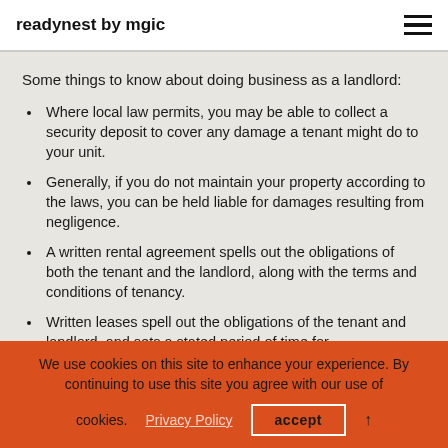readynest by mgic
Some things to know about doing business as a landlord:
Where local law permits, you may be able to collect a security deposit to cover any damage a tenant might do to your unit.
Generally, if you do not maintain your property according to the laws, you can be held liable for damages resulting from negligence.
A written rental agreement spells out the obligations of both the tenant and the landlord, along with the terms and conditions of tenancy.
Written leases spell out the obligations of the tenant and landlord, and sets a stated period of time for
We use cookies on this site to enhance your experience. By continuing to use this site you agree with our use of cookies. Privacy Policy accept ↑